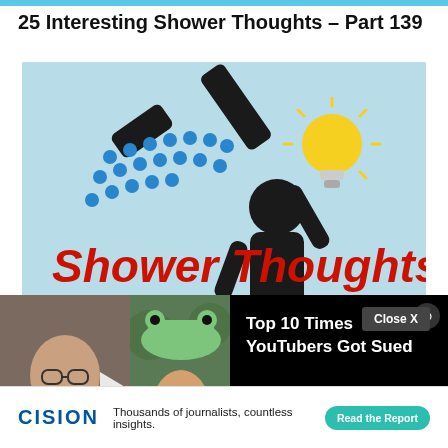25 Interesting Shower Thoughts – Part 139
[Figure (illustration): Shower Thoughts Part 48 illustration: light blue background with a black shower head icon spraying blue dots/droplets, a glowing yellow light bulb, and a black silhouetted figure. Large bold red italic text reads 'Shower Thoughts' and below it 'Part 48'.]
[Figure (screenshot): Video overlay ad for 'Top 10 Times YouTubers Got Sued' with mojo TOPX branding. Shows two people thumbnails on the left and black panel with title text on the right. Close X button in top right of video panel.]
Close X
[Figure (other): CISION advertisement banner. Shows 'CISION' logo in blue, tagline 'Thousands of journalists, countless insights.' and a teal 'Read the Report' button.]